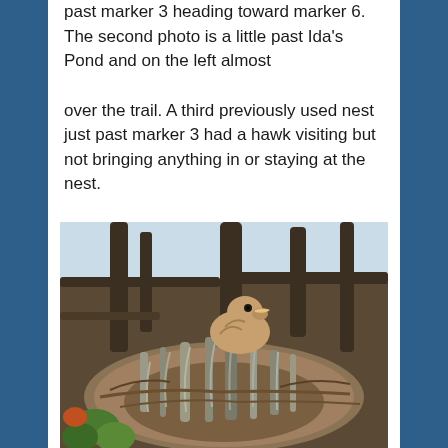past marker 3 heading toward marker 6. The second photo is a little past Ida's Pond and on the left almost
over the trail. A third previously used nest just past marker 3 had a hawk visiting but not bringing anything in or staying at the nest.
[Figure (photo): A bird (hawk chick or similar) sitting in a large nest made of twigs, moss, and Spanish moss, nestled among tree branches. The nest is large and messy. Green leaves visible at lower left.]